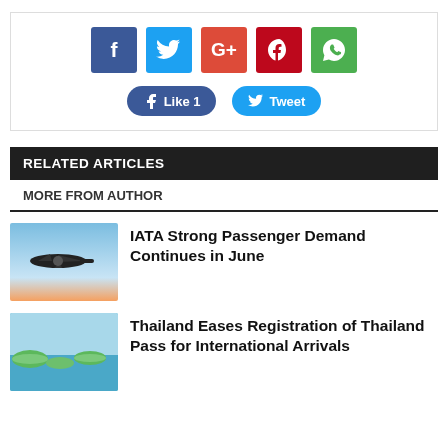[Figure (infographic): Social share box with Facebook, Twitter, Google+, Pinterest, WhatsApp buttons, and Like/Tweet action buttons]
RELATED ARTICLES
MORE FROM AUTHOR
[Figure (photo): Airplane silhouette against sunset sky]
IATA Strong Passenger Demand Continues in June
[Figure (photo): Tropical islands and blue sea]
Thailand Eases Registration of Thailand Pass for International Arrivals